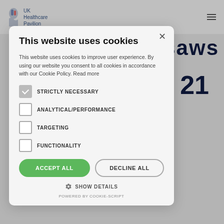[Figure (screenshot): UK Healthcare Pavilion website header with logo and hamburger menu, background content showing text 'saws' and '21']
This website uses cookies
This website uses cookies to improve user experience. By using our website you consent to all cookies in accordance with our Cookie Policy. Read more
STRICTLY NECESSARY (checked)
ANALYTICAL/PERFORMANCE
TARGETING
FUNCTIONALITY
ACCEPT ALL
DECLINE ALL
SHOW DETAILS
POWERED BY COOKIE-SCRIPT